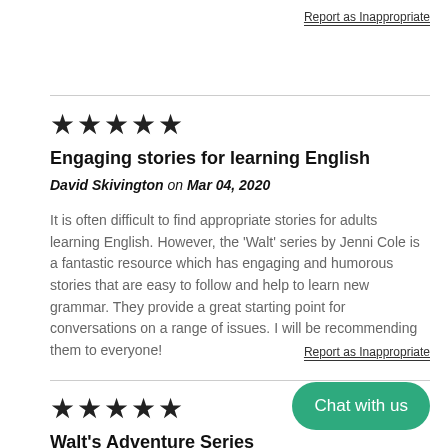Report as Inappropriate
[Figure (other): 5 filled star rating icons]
Engaging stories for learning English
David Skivington on Mar 04, 2020
It is often difficult to find appropriate stories for adults learning English. However, the 'Walt' series by Jenni Cole is a fantastic resource which has engaging and humorous stories that are easy to follow and help to learn new grammar. They provide a great starting point for conversations on a range of issues. I will be recommending them to everyone!
Report as Inappropriate
[Figure (other): 5 filled star rating icons]
Walt's Adventure Series
Chat with us